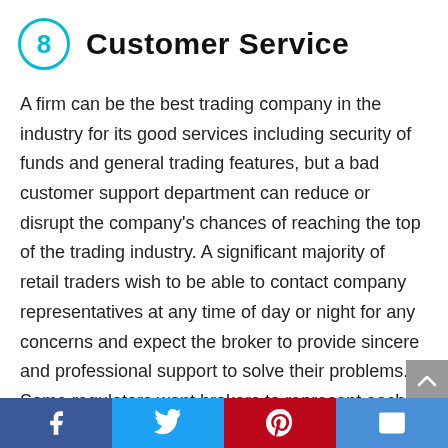8 Customer Service
A firm can be the best trading company in the industry for its good services including security of funds and general trading features, but a bad customer support department can reduce or disrupt the company's chances of reaching the top of the trading industry. A significant majority of retail traders wish to be able to contact company representatives at any time of day or night for any concerns and expect the broker to provide sincere and professional support to solve their problems. Some regulators want brokers to represent each client by a specific legal advisor. At the same time, we know that the best companies in the market will
Facebook Twitter Pinterest Email